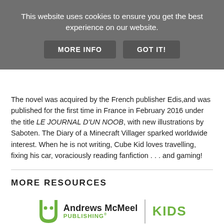This website uses cookies to ensure you get the best experience on our website.
MORE INFO   GOT IT!
The novel was acquired by the French publisher Edis, and was published for the first time in France in February 2016 under the title LE JOURNAL D'UN NOOB, with new illustrations by Saboten. The Diary of a Minecraft Villager sparked worldwide interest. When he is not writing, Cube Kid loves travelling, fixing his car, voraciously reading fanfiction . . . and gaming!
MORE RESOURCES
[Figure (logo): Andrews McMeel Publishing Kids logo]
Are you a librarian, teacher, and/or parent? Visit AMPKids.com for related teaching guides, printable activities, videos, and